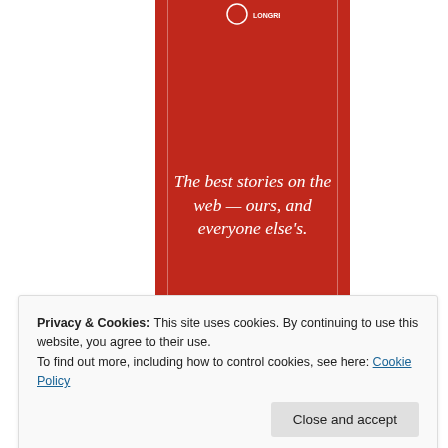[Figure (illustration): Red vertical banner with white border lines and a logo at the top, resembling a Longreads-style website banner.]
The best stories on the web — ours, and everyone else's.
Privacy & Cookies: This site uses cookies. By continuing to use this website, you agree to their use.
To find out more, including how to control cookies, see here: Cookie Policy
Close and accept